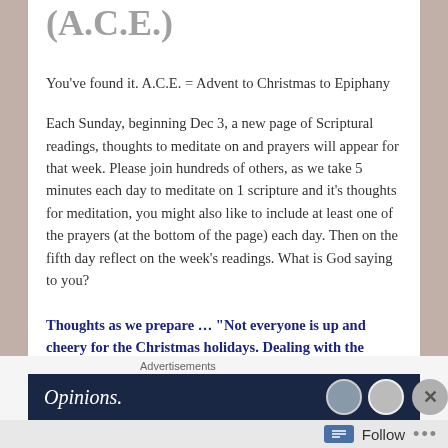(A.C.E.)
You’ve found it. A.C.E. = Advent to Christmas to Epiphany
Each Sunday, beginning Dec 3, a new page of Scriptural readings, thoughts to meditate on and prayers will appear for that week. Please join hundreds of others, as we take 5 minutes each day to meditate on 1 scripture and it’s thoughts for meditation, you might also like to include at least one of the prayers (at the bottom of the page) each day. Then on the fifth day reflect on the week’s readings. What is God saying to you?
Thoughts as we prepare … “Not everyone is up and cheery for the Christmas holidays. Dealing with the death of a loved one, facing life after divorce or…
Advertisements
[Figure (screenshot): Advertisement banner with dark navy background showing the word 'Opinions.' in white italic text and WordPress logo icons on the right side. A close button (X) appears at the far right.]